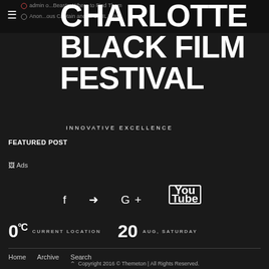admin o... Beasts: Where to Find Them | Anon...ous Captain and...: CIVIL WAR
CHARLOTTE BLACK FILM FESTIVAL
INNOVATIVE EXCELLENCE
FEATURED POST
[Figure (other): Ads image placeholder (broken image icon with alt text 'Ads')]
f  ❯  G+  YouTube
0°C  CURRENT LOCATION  20  AUG, SATURDAY
Home  Archive  Search
Copyright 2016 © Themeton | All Rights Reserved.